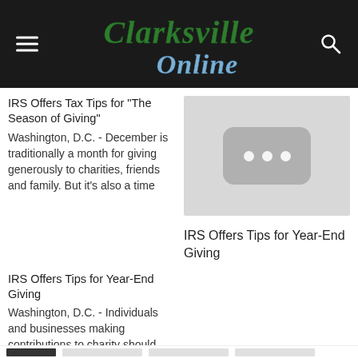Clarksville Online
IRS Offers Tax Tips for "The Season of Giving"
Washington, D.C. - December is traditionally a month for giving generously to charities, friends and family. But it's also a time
[Figure (photo): Placeholder image with grey background and loading indicator (three dots in a rounded rectangle)]
IRS Offers Tips for Year-End Giving
IRS Offers Tips for Year-End Giving
Washington, D.C. - Individuals and businesses making contributions to charity should keep in mind several important tax law